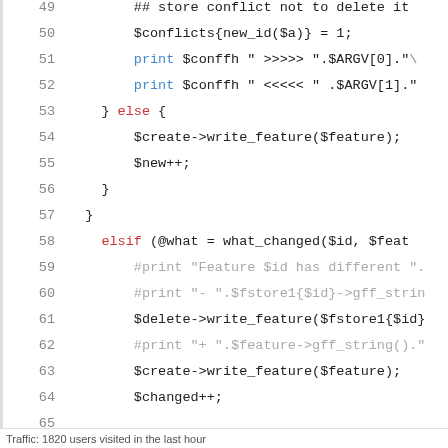[Figure (screenshot): Code listing showing Perl script lines 49–68 with syntax highlighting. Keywords 'print', 'else', 'elsif' in color; comments in grey; normal code in dark.]
Traffic: 1820 users visited in the last hour